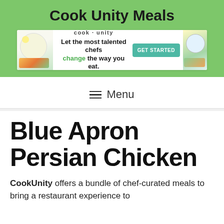Cook Unity Meals
[Figure (other): Cook Unity advertisement banner: logo on left, text 'Let the most talented chefs change the way you eat.' with GET STARTED button, food images on sides]
≡ Menu
Blue Apron Persian Chicken
CookUnity offers a bundle of chef-curated meals to bring a restaurant experience to